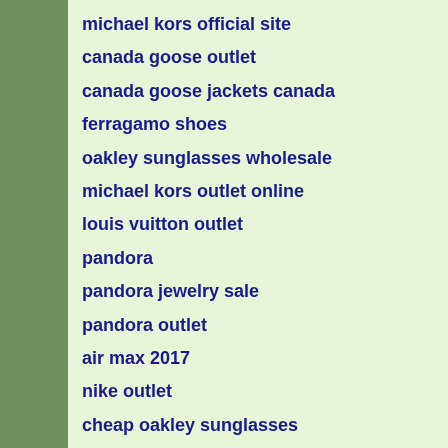michael kors official site
canada goose outlet
canada goose jackets canada
ferragamo shoes
oakley sunglasses wholesale
michael kors outlet online
louis vuitton outlet
pandora
pandora jewelry sale
pandora outlet
air max 2017
nike outlet
cheap oakley sunglasses
canada goose
cheap oakley sunglasses
pandora outlet
coach outlet